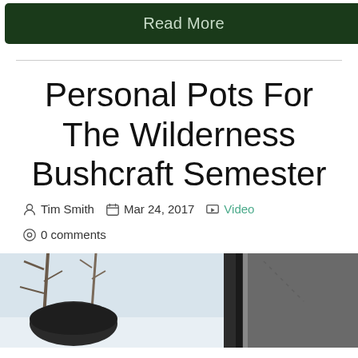Read More
Personal Pots For The Wilderness Bushcraft Semester
Tim Smith  Mar 24, 2017  Video  0 comments
[Figure (photo): Outdoor winter photo showing what appears to be a dark cooking pot or lid outdoors with snowy trees/branches in the background]